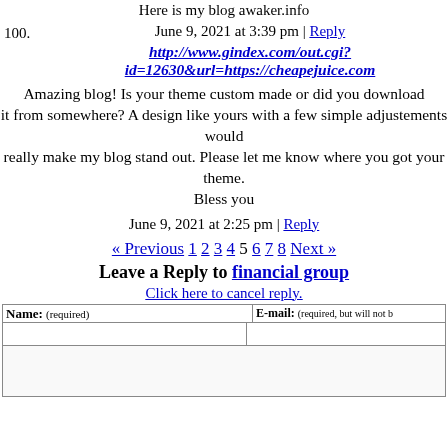Here is my blog awaker.info
June 9, 2021 at 3:39 pm | Reply
100. http://www.gindex.com/out.cgi?id=12630&url=https://cheapejuice.com
Amazing blog! Is your theme custom made or did you download it from somewhere? A design like yours with a few simple adjustements would really make my blog stand out. Please let me know where you got your theme.
Bless you
June 9, 2021 at 2:25 pm | Reply
« Previous 1 2 3 4 5 6 7 8 Next »
Leave a Reply to financial group
Click here to cancel reply.
| Name: (required) | E-mail: (required, but will not be published) |
| --- | --- |
|  |  |
|  |  |